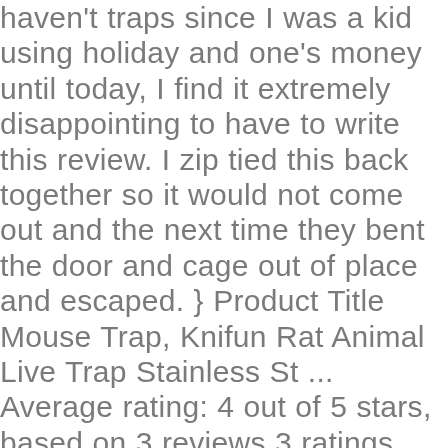haven't traps since I was a kid using holiday and one's money until today, I find it extremely disappointing to have to write this review. I zip tied this back together so it would not come out and the next time they bent the door and cage out of place and escaped. } Product Title Mouse Trap, Knifun Rat Animal Live Trap Stainless St ... Average rating: 4 out of 5 stars, based on 3 reviews 3 ratings Current Price $10.30 $ 10 . Which is the suggested size trap for a big mouse / small rat & it not be able to wiggle itself through the mesh? The. Galvanized steel; One-piece 12-Gauge Wire Mesh, Galvanized Steel; One-Piece 12-Gage Wire Mesh, Ideal for humanely catching squirrels, chipmunks, rats, weasels and similar-size nuisance animals, Two spring-loaded doors with sensitive triggers to ensure quick, secure trapping, Trigger rod is located outside of the trap so animals can't damage it while inside, Smooth internal edges protect & prevent animal injury, Designed for higher